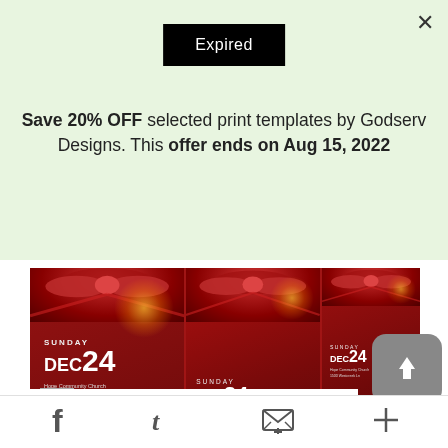[Figure (screenshot): Black 'Expired' badge/label centered at top of modal]
Save 20% OFF selected print templates by Godserv Designs. This offer ends on Aug 15, 2022
SAVE NOW!!
[Figure (photo): Christmas Candle Light Flyer Poster product mockup showing three versions of a red Christmas flyer with candle imagery, bow ribbons, SUNDAY DEC 24 date, and CANDLE LIGHT CHRISTMAS text in gold]
Christmas Candle Light Flyer Poster
[Figure (other): Social sharing icons: Facebook, Twitter, email/envelope, plus button, and gray upload/share button]